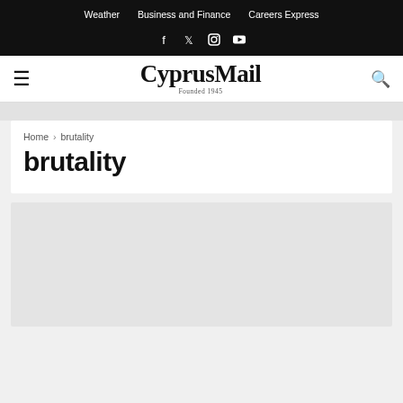Weather  Business and Finance  Careers Express
CyprusMail Founded 1945
Home › brutality
brutality
[Figure (other): Article image placeholder / advertisement area, light gray rectangle]